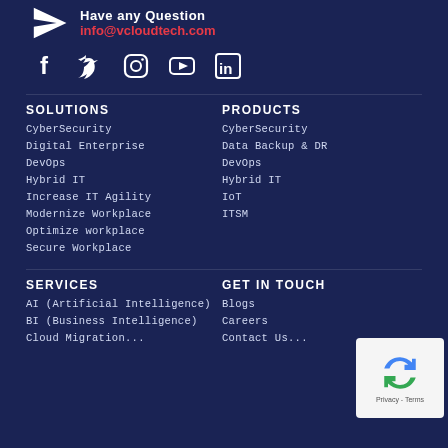Have any Question
info@vcloudtech.com
[Figure (illustration): Social media icons: Facebook, Twitter, Instagram, YouTube, LinkedIn]
SOLUTIONS
PRODUCTS
CyberSecurity
CyberSecurity
Digital Enterprise
Data Backup & DR
DevOps
DevOps
Hybrid IT
Hybrid IT
Increase IT Agility
IoT
Modernize Workplace
ITSM
Optimize workplace
Secure Workplace
SERVICES
GET IN TOUCH
AI (Artificial Intelligence)
Blogs
BI (Business Intelligence)
Careers
[Figure (illustration): reCAPTCHA Privacy - Terms badge]